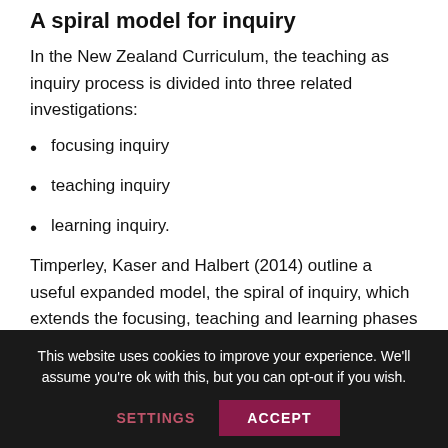A spiral model for inquiry
In the New Zealand Curriculum, the teaching as inquiry process is divided into three related investigations:
focusing inquiry
teaching inquiry
learning inquiry.
Timperley, Kaser and Halbert (2014) outline a useful expanded model, the spiral of inquiry, which extends the focusing, teaching and learning phases to include six phases:
This website uses cookies to improve your experience. We'll assume you're ok with this, but you can opt-out if you wish.